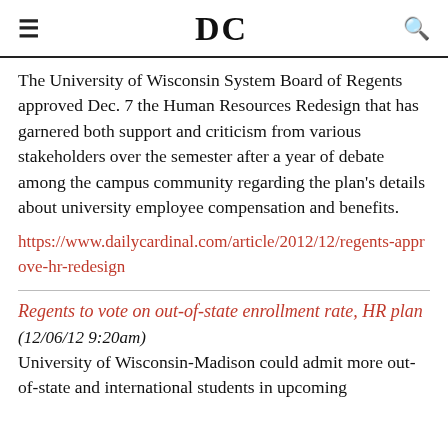DC
The University of Wisconsin System Board of Regents approved Dec. 7 the Human Resources Redesign that has garnered both support and criticism from various stakeholders over the semester after a year of debate among the campus community regarding the plan's details about university employee compensation and benefits.
https://www.dailycardinal.com/article/2012/12/regents-approve-hr-redesign
Regents to vote on out-of-state enrollment rate, HR plan
(12/06/12 9:20am)
University of Wisconsin-Madison could admit more out-of-state and international students in upcoming